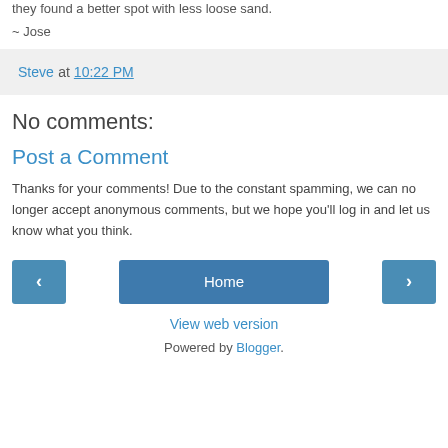they found a better spot with less loose sand.
~ Jose
Steve at 10:22 PM
No comments:
Post a Comment
Thanks for your comments! Due to the constant spamming, we can no longer accept anonymous comments, but we hope you'll log in and let us know what you think.
‹  Home  ›  View web version  Powered by Blogger.